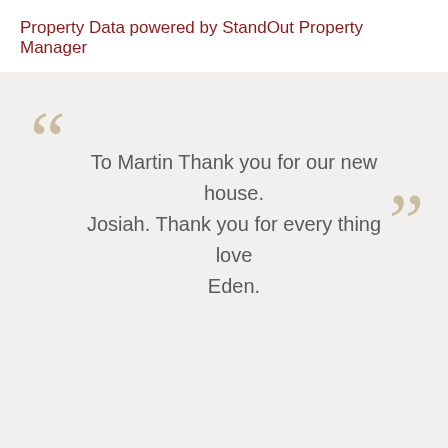Property Data powered by StandOut Property Manager
To Martin Thank you for our new house. Josiah. Thank you for every thing love Eden.